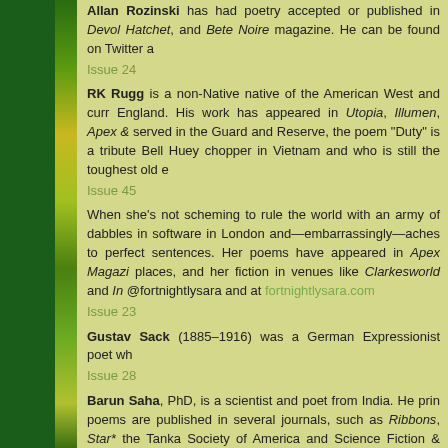Allan Rozinski has had poetry accepted or published in Devol Hatchet, and Bete Noire magazine. He can be found on Twitter a
Issue 24
RK Rugg is a non-Native native of the American West and currently lives in England. His work has appeared in Utopia, Illumen, Apex & others. Having served in the Guard and Reserve, the poem "Duty" is a tribute to his father, a Bell Huey chopper in Vietnam and who is still the toughest old e
Issue 45
When she's not scheming to rule the world with an army of cats, she dabbles in software in London and—embarrassingly—aches to write the perfect sentences. Her poems have appeared in Apex Magazine and other places, and her fiction in venues like Clarkesworld and In... @fortnightlysara and at fortnightlysara.com
Issue 23
Gustav Sack (1885–1916) was a German Expressionist poet wh
Issue 28
Barun Saha, PhD, is a scientist and poet from India. He prin poems are published in several journals, such as Ribbons, Star* the Tanka Society of America and Science Fiction & Fantasy more information about Barun. Some of his poems can be found
Issue 42
L. W. Salinas is a podcaster, a voice actress, a writer, and a c previously been published in the collection Ten Days of Madne can be found at lawofalltrades.wordpress.com
Issue 22